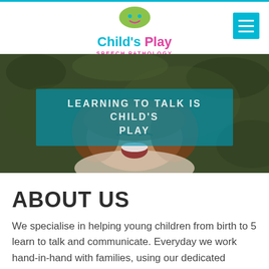[Figure (logo): Child's Play Speech Pathology logo with speech bubble icon and smiley face]
[Figure (photo): Hero image of a young child laughing while lying on grass, with overlaid transparent blue banner text reading LEARNING TO TALK IS CHILD'S PLAY]
ABOUT US
We specialise in helping young children from birth to 5 learn to talk and communicate. Everyday we work hand-in-hand with families, using our dedicated team's